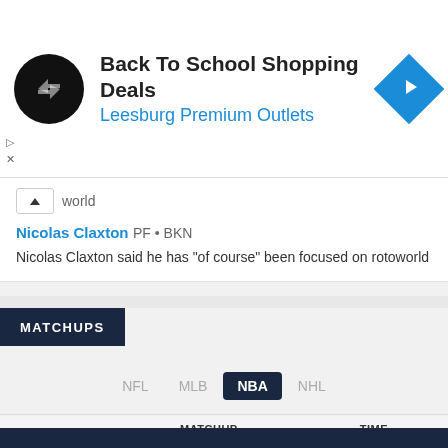[Figure (illustration): Advertisement banner: black circular logo with double arrow, text 'Back To School Shopping Deals' and 'Leesburg Premium Outlets', blue diamond navigation icon]
Nicolas Claxton PF • BKN
Nicolas Claxton said he has "of course" been focused on rotoworld
MATCHUPS
NFL  MLB  NBA  NHL
| MATCHUP | TIME |
| --- | --- |
| No games scheduled |  |